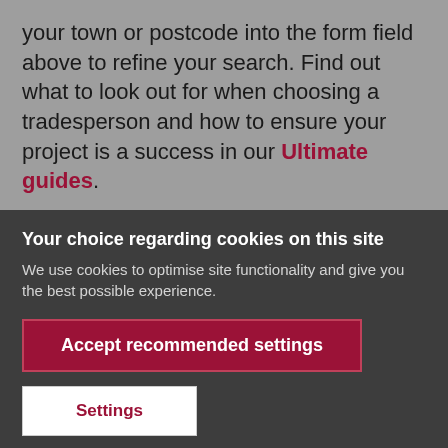your town or postcode into the form field above to refine your search. Find out what to look out for when choosing a tradesperson and how to ensure your project is a success in our Ultimate guides.
Your choice regarding cookies on this site
We use cookies to optimise site functionality and give you the best possible experience.
Accept recommended settings
Settings